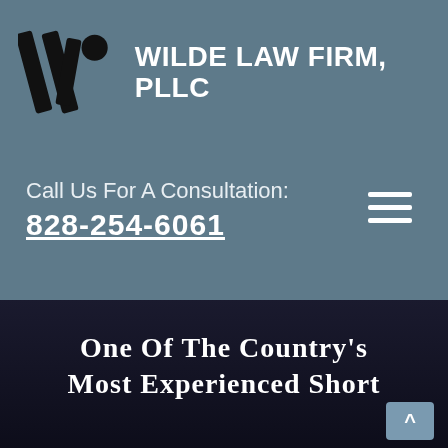[Figure (logo): Wilde Law Firm PLLC logo with stylized W lettermark in black diagonal stripes with circle accent, on blue-gray background, and firm name in white bold text]
Call Us For A Consultation:
828-254-6061
One Of The Country's Most Experienced Short